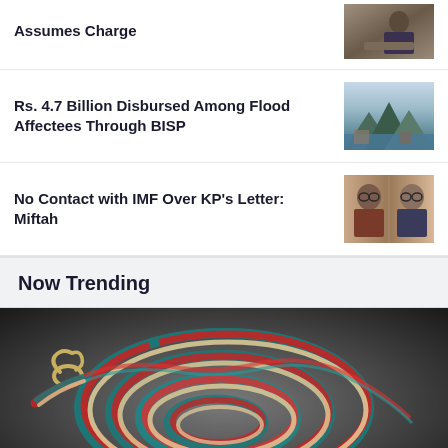Assumes Charge
Rs. 4.7 Billion Disbursed Among Flood Affectees Through BISP
No Contact with IMF Over KP's Letter: Miftah
Now Trending
[Figure (photo): Colorful braided rope coiled on a dark background, with red, teal/blue, and cream/white strands woven together, featuring a metal clasp or hook at one end]